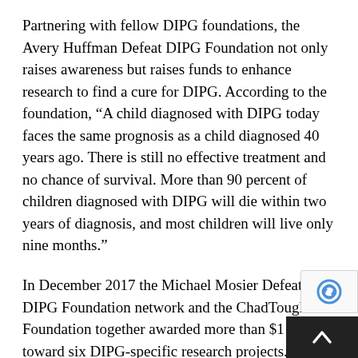Partnering with fellow DIPG foundations, the Avery Huffman Defeat DIPG Foundation not only raises awareness but raises funds to enhance research to find a cure for DIPG. According to the foundation, “A child diagnosed with DIPG today faces the same prognosis as a child diagnosed 40 years ago. There is still no effective treatment and no chance of survival. More than 90 percent of children diagnosed with DIPG will die within two years of diagnosis, and most children will live only nine months.”
In December 2017 the Michael Mosier Defeat DIPG Foundation network and the ChadTough Foundation together awarded more than $1 million toward six DIPG-specific research projects.
The six awarded recipients are the first round of fellowships and grants. Approximately 30 applicants